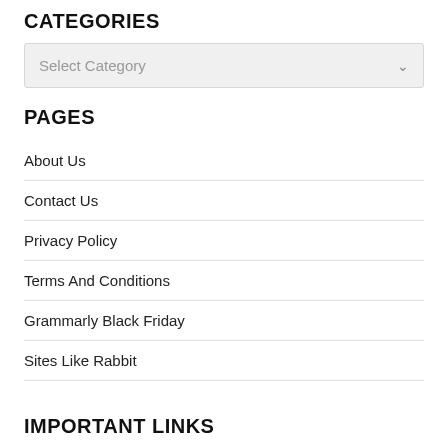CATEGORIES
Select Category
PAGES
About Us
Contact Us
Privacy Policy
Terms And Conditions
Grammarly Black Friday
Sites Like Rabbit
IMPORTANT LINKS